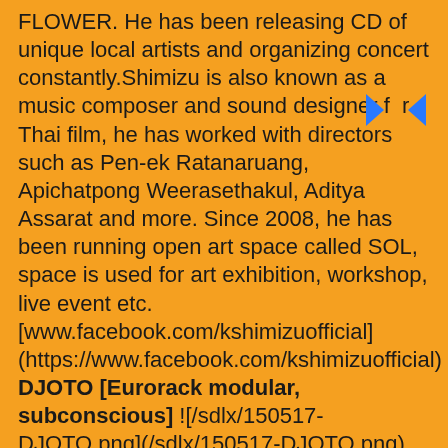FLOWER. He has been releasing CD of unique local artists and organizing concert constantly.Shimizu is also known as a music composer and sound designer for Thai film, he has worked with directors such as Pen-ek Ratanaruang, Apichatpong Weerasethakul, Aditya Assarat and more. Since 2008, he has been running open art space called SOL, space is used for art exhibition, workshop, live event etc. [www.facebook.com/kshimizuofficial](https://www.facebook.com/kshimizuofficial) DJOTO [Eurorack modular, subconscious] ![/sdlx/150517-DJOTO.png](/sdlx/150517-DJOTO.png) djoto is a Martian psychadelic noiz alchemist with the rank of 5 into 6, providing psionic basswave synapse reprogramming for earthlings and their pets since 418 B.C. [facebook.com/djoto](https://www.facebook.com/djoto) UTEROZZZAAA [Metropolis, Osaka] ![/sdlx/UTEROZZZAAA.png](/sdlx/UTEROZZZAAA.png) One man play the show of